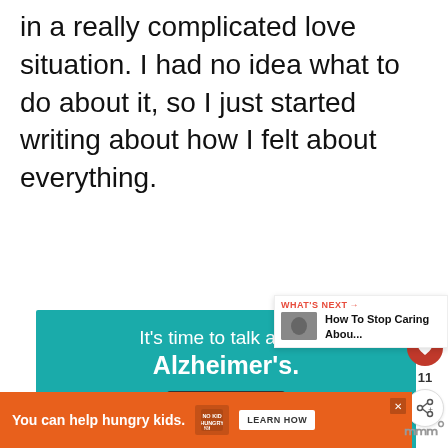in a really complicated love situation. I had no idea what to do about it, so I just started writing about how I felt about everything.
[Figure (screenshot): Alzheimer's Association advertisement on teal background. Text: 'It's time to talk about Alzheimer's.' with a LEARN MORE button, alz.org/ourstories URL, and illustrated image of two people. Alzheimer's Association logo at bottom.]
[Figure (screenshot): Side panel showing heart icon button with count 11, and a share button.]
[Figure (screenshot): What's Next panel showing 'How To Stop Caring Abou...' with thumbnail image.]
[Figure (screenshot): Orange banner advertisement: 'You can help hungry kids.' No Kid Hungry logo with LEARN HOW button.]